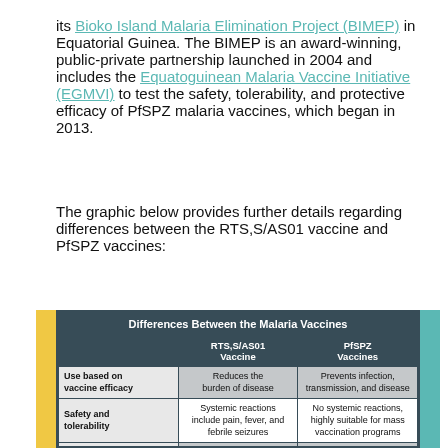its Bioko Island Malaria Elimination Project (BIMEP) in Equatorial Guinea. The BIMEP is an award-winning, public-private partnership launched in 2004 and includes the Equatoguinean Malaria Vaccine Initiative (EGMVI) to test the safety, tolerability, and protective efficacy of PfSPZ malaria vaccines, which began in 2013.
The graphic below provides further details regarding differences between the RTS,S/AS01 vaccine and PfSPZ vaccines:
|  | RTS,S/AS01 Vaccine | PfSPZ Vaccines |
| --- | --- | --- |
| Use based on vaccine efficacy | Reduces the burden of disease | Prevents infection, transmission, and disease |
| Safety and tolerability | Systemic reactions include pain, fever, and febrile seizures | No systemic reactions, highly suitable for mass vaccination programs |
| Main application | Children from 5 months of age, in EPI | All ages 2 years and up |
| Objective | Reduce hospitalizations, save lives | Reduce hospitalizations, save lives, regional malaria elimination |
| Added applications | None established | Travelers and pregnant women |
| Malaria species | P. falciparum only | Protection against P. vivax to be tested in 2022; P. vivax sporozoites vaccines in development |